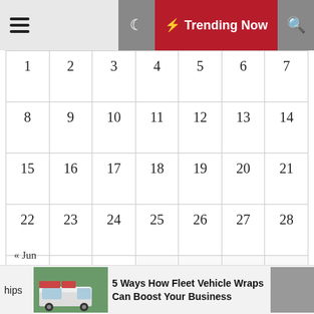Trending Now
| 1 | 2 | 3 | 4 | 5 | 6 | 7 |
| 8 | 9 | 10 | 11 | 12 | 13 | 14 |
| 15 | 16 | 17 | 18 | 19 | 20 | 21 |
| 22 | 23 | 24 | 25 | 26 | 27 | 28 |
| 29 | 30 | 31 |  |  |  |  |
« Jun
Tags
hips
5 Ways How Fleet Vehicle Wraps Can Boost Your Business